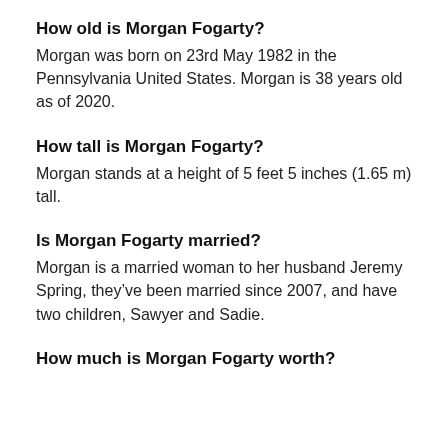How old is Morgan Fogarty?
Morgan was born on 23rd May 1982 in the Pennsylvania United States. Morgan is 38 years old as of 2020.
How tall is Morgan Fogarty?
Morgan stands at a height of 5 feet 5 inches (1.65 m) tall.
Is Morgan Fogarty married?
Morgan is a married woman to her husband Jeremy Spring, they've been married since 2007, and have two children, Sawyer and Sadie.
How much is Morgan Fogarty worth?